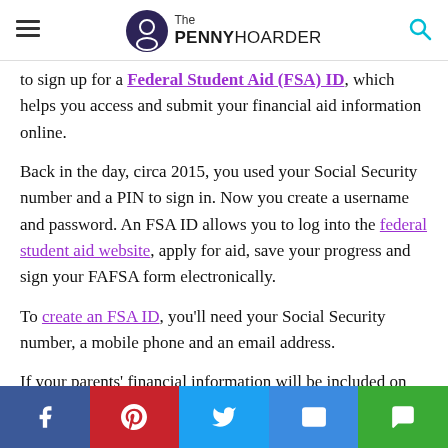The PENNY HOARDER
to sign up for a Federal Student Aid (FSA) ID, which helps you access and submit your financial aid information online.
Back in the day, circa 2015, you used your Social Security number and a PIN to sign in. Now you create a username and password. An FSA ID allows you to log into the federal student aid website, apply for aid, save your progress and sign your FAFSA form electronically.
To create an FSA ID, you'll need your Social Security number, a mobile phone and an email address.
If your parents' financial information will be included on your FAFSA, they'll need to individually sign up for an FSA ID too.
Social share bar: Facebook, Pinterest, Twitter, Email, Message